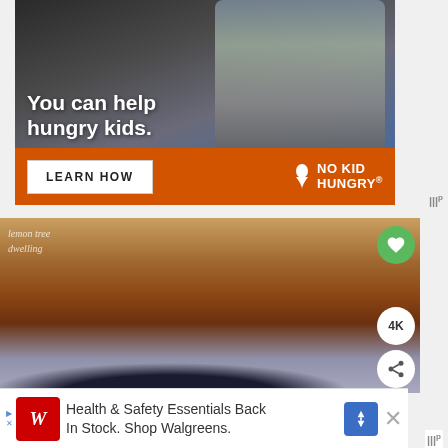[Figure (photo): Advertisement banner: No Kid Hungry campaign. Shows a child eating with text 'You can help hungry kids.' on a dark background, orange bar at bottom with 'LEARN HOW' button and No Kid Hungry logo.]
[Figure (photo): Food blog photo showing a dark bowl filled with what appears to be cinnamon apple chips or dried fruit slices. Watermark reads 'lemon tree dwelling'. Heart (save) button, 4K badge, and share button visible on right edge.]
[Figure (photo): Walgreens advertisement at bottom: 'Health & Safety Essentials Back In Stock. Shop Walgreens.' with Walgreens logo on left and navigation arrow on right.]